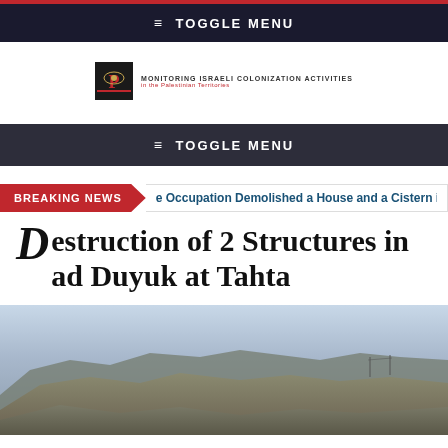≡ TOGGLE MENU
[Figure (logo): POICA logo - Monitoring Israeli Colonization Activities organization logo with icon and text]
≡ TOGGLE MENU
BREAKING NEWS | e Occupation Demolished a House and a Cistern in P
Destruction of 2 Structures in ad Duyuk at Tahta
[Figure (photo): Landscape photo showing arid hills and mountains under a hazy sky]